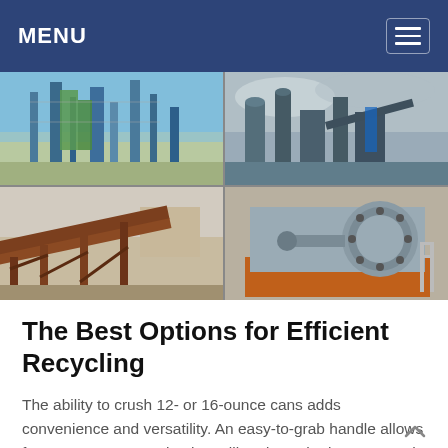MENU
[Figure (photo): Four-panel industrial photo collage: top-left shows a large industrial plant with green and blue structures and scaffolding under a blue sky; top-right shows a dark industrial facility with silos and machinery under a cloudy sky; bottom-left shows rusty conveyor belt industrial equipment in an open field; bottom-right shows a large gray industrial crusher or mill machine with orange base and metal railings.]
The Best Options for Efficient Recycling
The ability to crush 12- or 16-ounce cans adds convenience and versatility. An easy-to-grab handle allows for a one-step operation by pulling down the lever to crush